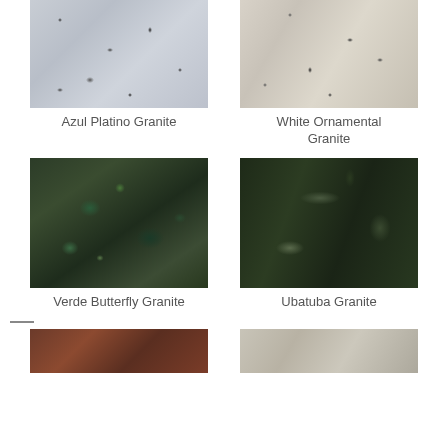[Figure (photo): Azul Platino Granite texture - grey speckled granite with dark mineral inclusions]
Azul Platino Granite
[Figure (photo): White Ornamental Granite texture - cream/white granite with dark speckles]
White Ornamental Granite
[Figure (photo): Verde Butterfly Granite texture - dark green granite with blue-green mineral crystals and golden veining]
Verde Butterfly Granite
[Figure (photo): Ubatuba Granite texture - very dark green/black granite with subtle mineral variations]
Ubatuba Granite
[Figure (photo): Partial view of reddish-brown granite at bottom left]
[Figure (photo): Partial view of light grey/cream granite at bottom right]